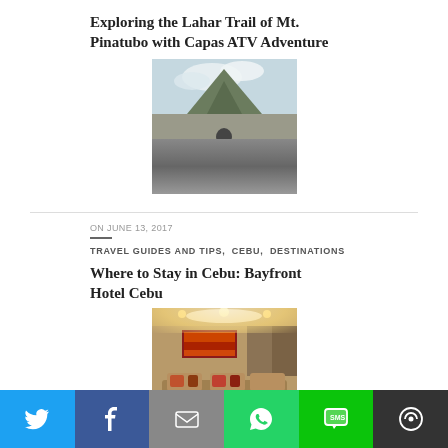Exploring the Lahar Trail of Mt. Pinatubo with Capas ATV Adventure
[Figure (photo): Person riding an ATV on a lahar field with Mt. Pinatubo in the background under cloudy skies]
ON JUNE 13, 2017
TRAVEL GUIDES AND TIPS,  CEBU,  DESTINATIONS
Where to Stay in Cebu: Bayfront Hotel Cebu
[Figure (photo): Hotel room interior with warm lighting, artwork on wall, and seating area]
Twitter | Facebook | Email | WhatsApp | SMS | More